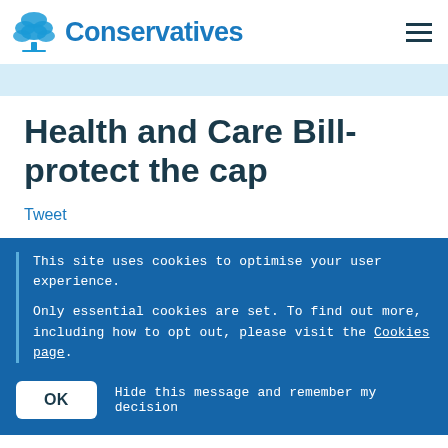[Figure (logo): Conservative Party logo: blue tree icon with 'Conservatives' text]
Health and Care Bill- protect the cap
Tweet
This site uses cookies to optimise your user experience.
Only essential cookies are set. To find out more, including how to opt out, please visit the Cookies page.
OK  Hide this message and remember my decision